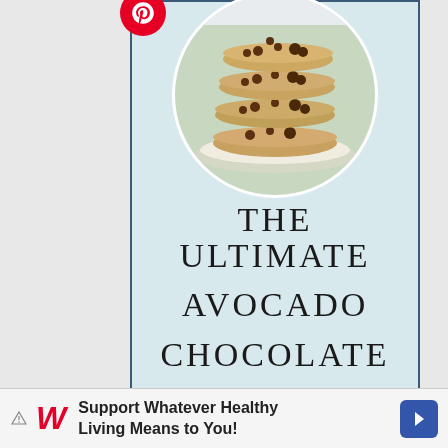[Figure (photo): Stack of chocolate chip cookies on a white plate, circular cropped photo]
THE ULTIMATE AVOCADO CHOCOLATE CHIP COOKIES
[Figure (infographic): Walgreens advertisement banner: Support Whatever Healthy Living Means to You!]